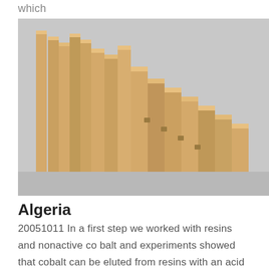which
[Figure (photo): Stack of tan/beige rectangular brick-shaped resin blocks arranged in a stepped pattern on a grey floor]
Algeria
20051011 In a first step we worked with resins and nonactive co balt and experiments showed that cobalt can be eluted from resins with an acid and then cobalt is sepa rated from this solution by electrochemical retention Our results show that 98 of initial cobalt charged in the resin is retained in electrochemical cell Topic Codes ARG20050001
[Figure (photo): White powder in a circular dish/petri dish viewed from above on dark background]